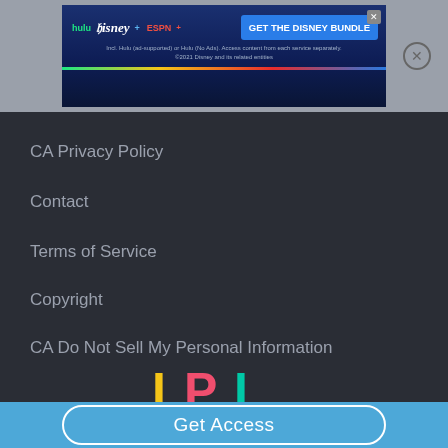[Figure (screenshot): Disney Bundle advertisement banner with Hulu, Disney+, ESPN+ logos and 'GET THE DISNEY BUNDLE' button on dark blue background]
CA Privacy Policy
Contact
Terms of Service
Copyright
CA Do Not Sell My Personal Information
[Figure (logo): IPL logo with yellow I, pink P, and teal L letters]
Get Access